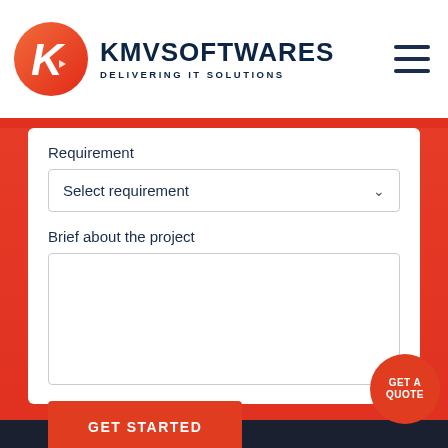[Figure (logo): KMVSoftwares logo: orange-red circle with white K letter and small play arrow, followed by bold dark navy text KMVSOFTWARES and tagline DELIVERING IT SOLUTIONS]
Requirement
Select requirement
Brief about the project
GET STARTED
GET A QUOTE